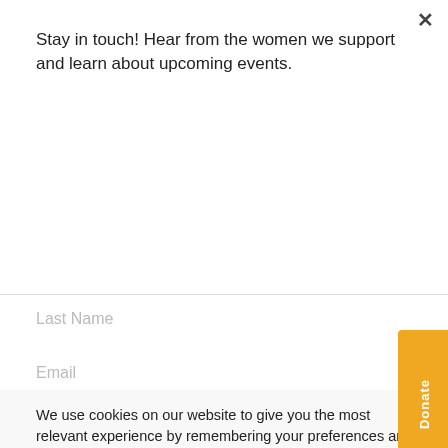Stay in touch! Hear from the women we support and learn about upcoming events.
Subscribe
Last Name
Email
We use cookies on our website to give you the most relevant experience by remembering your preferences and repeat visits. By clicking "Accept All", you consent to the use of ALL the cookies. However, you may visit "Cookie Settings" to provide a controlled consent.
Cookie Settings
Accept All
Donate